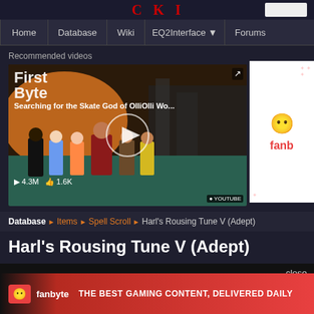CKI (logo bar with navigation)
Home | Database | Wiki | EQ2Interface | Forums
Recommended videos
[Figure (screenshot): Video thumbnail: Searching for the Skate God of OlliOlli Wo... with First Byte overlay, 4.3M views, 1.6K likes, play button]
[Figure (logo): Fanbyte advertisement panel on right side]
Database ▶ Items ▶ Spell Scroll ▶ Harl's Rousing Tune V (Adept)
Harl's Rousing Tune V (Adept)
close
[Figure (screenshot): Fanbyte banner ad: THE BEST GAMING CONTENT, DELIVERED DAILY]